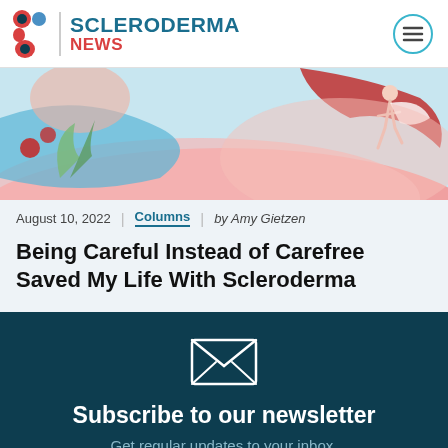SCLERODERMA NEWS
[Figure (illustration): Colorful illustration with pink, blue, and red abstract shapes suggesting a summery or health-themed scene with a figure running]
August 10, 2022 | Columns | by Amy Gietzen
Being Careful Instead of Carefree Saved My Life With Scleroderma
Subscribe to our newsletter
Get regular updates to your inbox.
Your Email